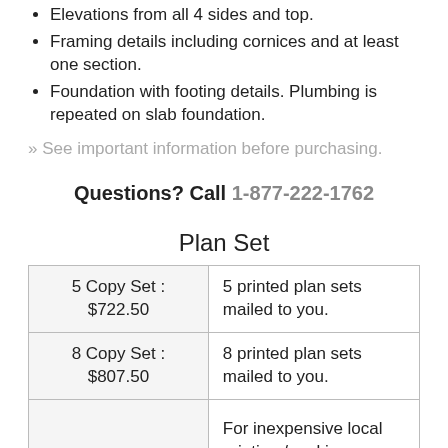Elevations from all 4 sides and top.
Framing details including cornices and at least one section.
Foundation with footing details. Plumbing is repeated on slab foundation.
» See important information before purchasing.
Questions? Call 1-877-222-1762
Plan Set
| 5 Copy Set : $722.50 | 5 printed plan sets mailed to you. |
| 8 Copy Set : $807.50 | 8 printed plan sets mailed to you. |
|  | For inexpensive local printing / making |